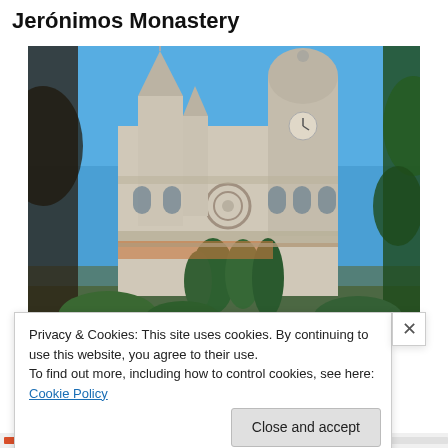Jerónimos Monastery
[Figure (photo): Photograph of the Jerónimos Monastery in Lisbon, Portugal. The ornate Manueline Gothic stone facade with towers and spires is visible through framing trees in the foreground, with a clear blue sky in the background.]
Privacy & Cookies: This site uses cookies. By continuing to use this website, you agree to their use.
To find out more, including how to control cookies, see here: Cookie Policy
Close and accept